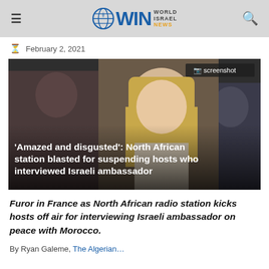WIN World Israel News
February 2, 2021
[Figure (photo): Blonde woman speaking, with other people behind her, likely a press conference or TV screenshot. Overlaid text reads: 'Amazed and disgusted': North African station blasted for suspending hosts who interviewed Israeli ambassador. Badge reads: screenshot]
Furor in France as North African radio station kicks hosts off air for interviewing Israeli ambassador on peace with Morocco.
By Ryan Galeme, The Algerian...